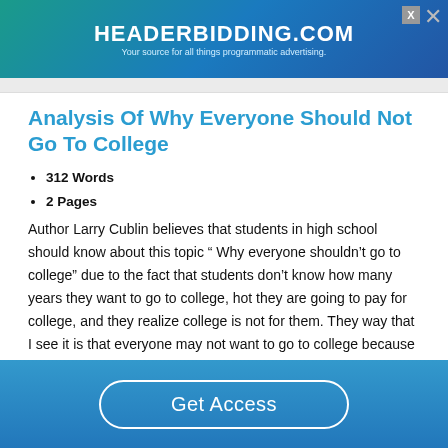[Figure (other): HEADERBIDDING.COM advertisement banner - Your source for all things programmatic advertising.]
Analysis Of Why Everyone Should Not Go To College
312 Words
2 Pages
Author Larry Cublin believes that students in high school should know about this topic “ Why everyone shouldn’t go to college” due to the fact that students don’t know how many years they want to go to college, hot they are going to pay for college, and they realize college is not for them. They way that I see it is that everyone may not want to go to college because they already have a mindset on what they
Get Access